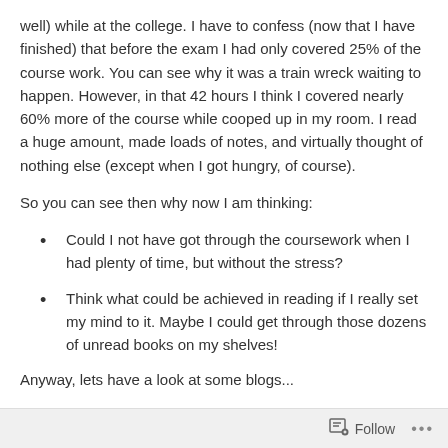well) while at the college. I have to confess (now that I have finished) that before the exam I had only covered 25% of the course work. You can see why it was a train wreck waiting to happen. However, in that 42 hours I think I covered nearly 60% more of the course while cooped up in my room. I read a huge amount, made loads of notes, and virtually thought of nothing else (except when I got hungry, of course).
So you can see then why now I am thinking:
Could I not have got through the coursework when I had plenty of time, but without the stress?
Think what could be achieved in reading if I really set my mind to it. Maybe I could get through those dozens of unread books on my shelves!
Anyway, lets have a look at some blogs...
Follow ···